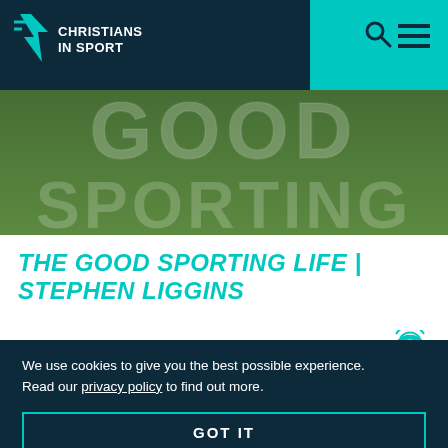[Figure (logo): Christians in Sport logo — white star/lightning bolt icon with white text on dark navy background header]
[Figure (photo): Hero banner image showing grass background with large white block letters spelling GOOD SPORTING in two lines]
THE GOOD SPORTING LIFE | STEPHEN LIGGINS
PODCAST  |  17.07.20
We use cookies to give you the best possible experience. Read our privacy policy to find out more.
GOT IT